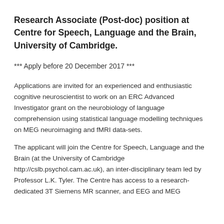Research Associate (Post-doc) position at Centre for Speech, Language and the Brain, University of Cambridge.
*** Apply before 20 December 2017 ***
Applications are invited for an experienced and enthusiastic cognitive neuroscientist to work on an ERC Advanced Investigator grant on the neurobiology of language comprehension using statistical language modelling techniques on MEG neuroimaging and fMRI data-sets.
The applicant will join the Centre for Speech, Language and the Brain (at the University of Cambridge http://cslb.psychol.cam.ac.uk), an inter-disciplinary team led by Professor L.K. Tyler. The Centre has access to a research-dedicated 3T Siemens MR scanner, and EEG and MEG